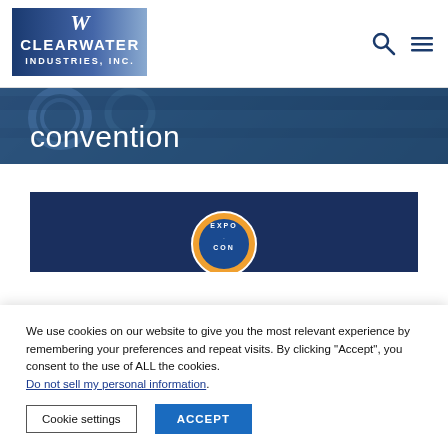Clearwater Industries, Inc. — navigation header with logo, search icon, and menu icon
[Figure (logo): Clearwater Industries, Inc. logo — blue and white text with decorative W mark]
convention
[Figure (photo): Dark blue card with circular Expo-Con badge/logo partially visible]
We use cookies on our website to give you the most relevant experience by remembering your preferences and repeat visits. By clicking “Accept”, you consent to the use of ALL the cookies. Do not sell my personal information.
Cookie settings   ACCEPT